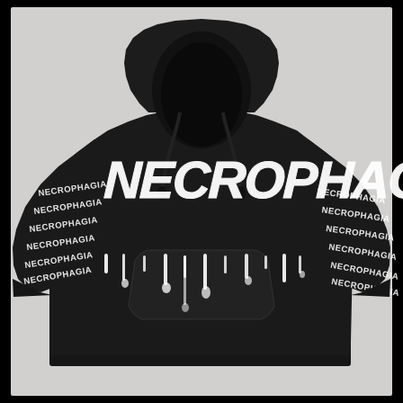[Figure (photo): A black pullover hoodie sweatshirt laid flat on a light gray background. The front chest features large white dripping horror-style text reading 'NECROPHAGIA'. Both sleeves are printed with repeated smaller text 'NECROPHAGIA' running down the length of each sleeve, approximately 6 times per sleeve. The hoodie has a kangaroo pocket and drawstring hood.]